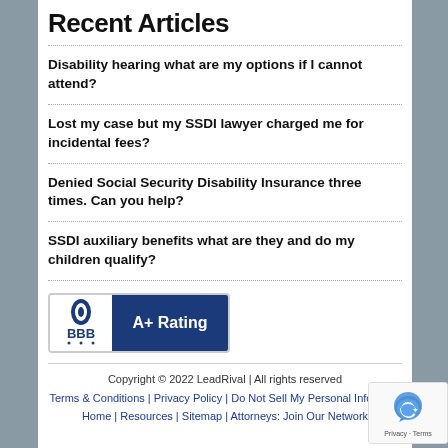Recent Articles
Disability hearing what are my options if I cannot attend?
Lost my case but my SSDI lawyer charged me for incidental fees?
Denied Social Security Disability Insurance three times. Can you help?
SSDI auxiliary benefits what are they and do my children qualify?
[Figure (logo): BBB A+ Rating badge with BBB logo on white background and A+ Rating text on dark blue background]
Copyright © 2022 LeadRival | All rights reserved
Terms & Conditions | Privacy Policy | Do Not Sell My Personal Information
Home | Resources | Sitemap | Attorneys: Join Our Network